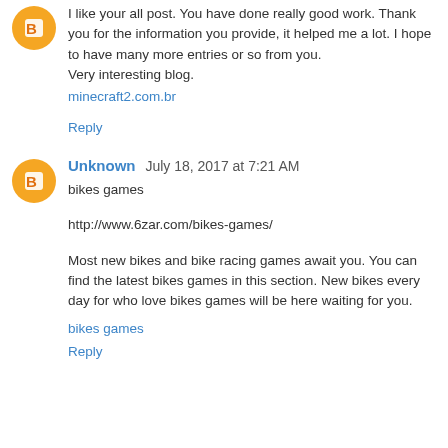[Figure (illustration): Orange circular avatar icon with blogger B symbol]
I like your all post. You have done really good work. Thank you for the information you provide, it helped me a lot. I hope to have many more entries or so from you.
Very interesting blog.
minecraft2.com.br
Reply
[Figure (illustration): Orange circular avatar icon with blogger B symbol]
Unknown  July 18, 2017 at 7:21 AM
bikes games
http://www.6zar.com/bikes-games/
Most new bikes and bike racing games await you. You can find the latest bikes games in this section. New bikes every day for who love bikes games will be here waiting for you.
bikes games
Reply